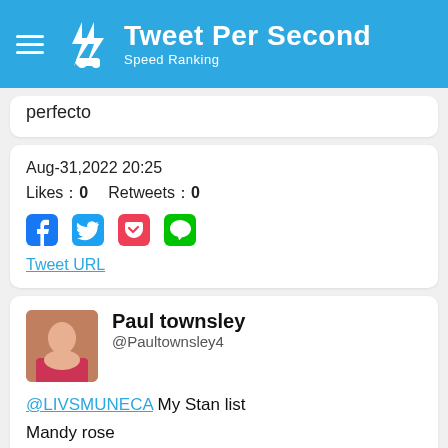Tweet Per Second — Speed Ranking
perfecto
Aug-31,2022 20:25
Likes：0  Retweets：0
Tweet URL
Paul townsley @Paultownsley4
@LIVSMUNECA My Stan list
Mandy rose
Scarlett Bordeaux
Becky Lynch
Liv Morgan